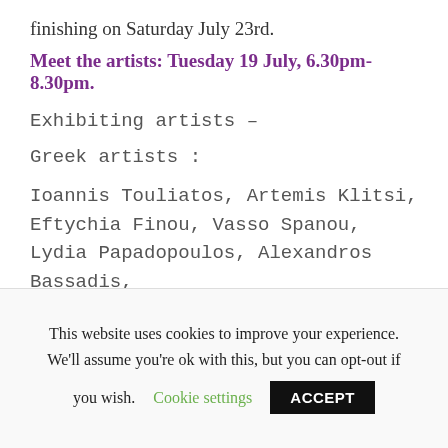finishing on Saturday July 23rd.
Meet the artists: Tuesday 19 July, 6.30pm-8.30pm.
Exhibiting artists –
Greek artists :
Ioannis Touliatos, Artemis Klitsi, Eftychia Finou, Vasso Spanou, Lydia Papadopoulos, Alexandros Bassadis,
UK artists:
Dugald MacInnes, Nathalie Vin, Aliyahgator, Arianna [continues below]
This website uses cookies to improve your experience. We'll assume you're ok with this, but you can opt-out if you wish. Cookie settings ACCEPT